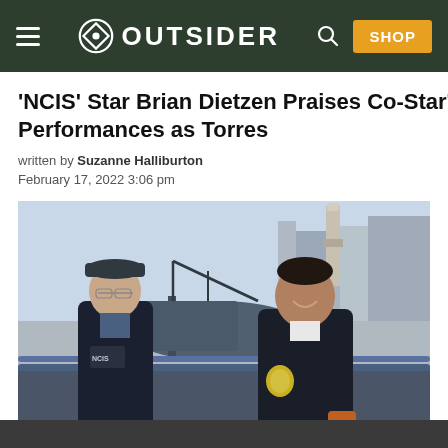OUTSIDER
'NCIS' Star Brian Dietzen Praises Co-Star's Performances as Torres
written by Suzanne Halliburton
February 17, 2022 3:06 pm
[Figure (photo): Two men wearing dark NCIS jackets standing outdoors near a harbor with boats and a lighthouse tower in the background. The man on the left wears a cap and glasses; the man on the right is younger and smiling.]